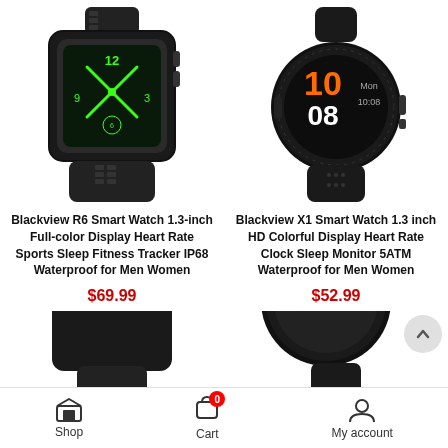[Figure (photo): Blackview R6 smart watch - rugged square style with black band and green display]
[Figure (photo): Blackview X1 smart watch - round style with black band showing orange digits on display]
Blackview R6 Smart Watch 1.3-inch Full-color Display Heart Rate Sports Sleep Fitness Tracker IP68 Waterproof for Men Women
$69.99
Blackview X1 Smart Watch 1.3 inch HD Colorful Display Heart Rate Clock Sleep Monitor 5ATM Waterproof for Men Women
$52.99
[Figure (photo): Partial view of a black smart watch (bottom left)]
[Figure (photo): Partial view of a round black smart watch (bottom right)]
Shop   Cart   My account